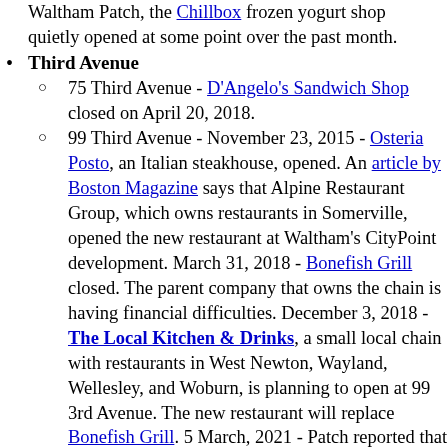Waltham Patch, the Chillbox frozen yogurt shop quietly opened at some point over the past month.
Third Avenue
75 Third Avenue - D'Angelo's Sandwich Shop closed on April 20, 2018.
99 Third Avenue - November 23, 2015 - Osteria Posto, an Italian steakhouse, opened. An article by Boston Magazine says that Alpine Restaurant Group, which owns restaurants in Somerville, opened the new restaurant at Waltham's CityPoint development. March 31, 2018 - Bonefish Grill closed. The parent company that owns the chain is having financial difficulties. December 3, 2018 - The Local Kitchen & Drinks, a small local chain with restaurants in West Newton, Wayland, Wellesley, and Woburn, is planning to open at 99 3rd Avenue. The new restaurant will replace Bonefish Grill. 5 March, 2021 - Patch reported that a new restaurant called The Painted Burro is planned to open in April. The place will open in the plaza at 99 Third Avenue. This is the site of Osteria Posto, which went into hibernation during the pandemic, but never woke up. Owner Joe Cassinelli, who owns